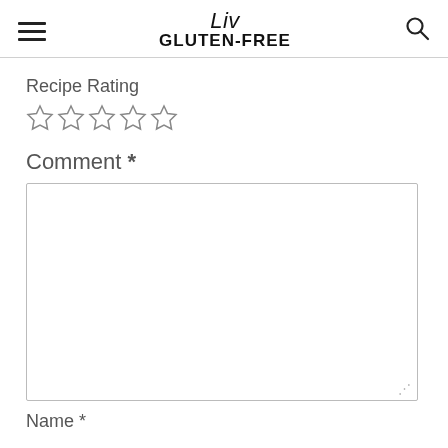Liv GLUTEN-FREE
Recipe Rating
[Figure (other): Five empty star rating icons]
Comment *
[Figure (other): Empty comment text area input box]
Name *